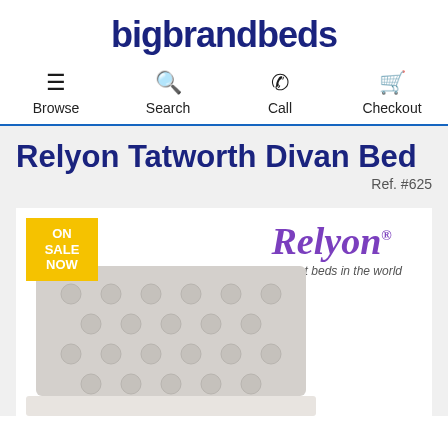bigbrandbeds
Browse  Search  Call  Checkout
Relyon Tatworth Divan Bed
Ref. #625
[Figure (photo): Product image of Relyon Tatworth Divan Bed with ON SALE NOW badge, Relyon brand logo (purple cursive), tagline 'The best beds in the world', and a grey tufted headboard visible at the bottom.]